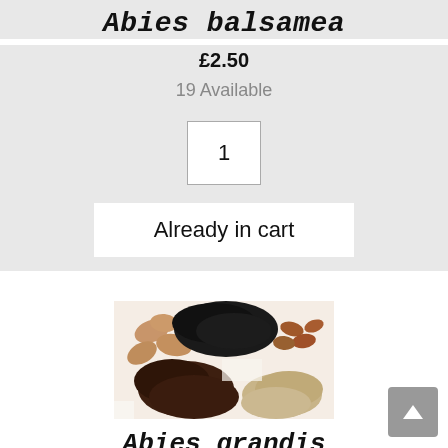Abies balsamea
£2.50
19 Available
1
Already in cart
[Figure (photo): Close-up photo of various seeds and nuts including almonds, dark seeds, brown seeds, small dark peppercorns, and tan/beige grain seeds arranged on white background]
Abies grandis